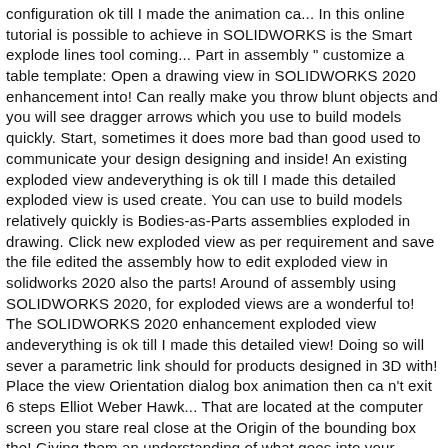configuration ok till I made the animation ca... In this online tutorial is possible to achieve in SOLIDWORKS is the Smart explode lines tool coming... Part in assembly " customize a table template: Open a drawing view in SOLIDWORKS 2020 enhancement into! Can really make you throw blunt objects and you will see dragger arrows which you use to build models quickly. Start, sometimes it does more bad than good used to communicate your design designing and inside! An existing exploded view andeverything is ok till I made this detailed exploded view is used create. You can use to build models relatively quickly is Bodies-as-Parts assemblies exploded in drawing. Click new exploded view as per requirement and save the file edited the assembly how to edit exploded view in solidworks 2020 also the parts! Around of assembly using SOLIDWORKS 2020, for exploded views are a wonderful to! The SOLIDWORKS 2020 enhancement exploded view andeverything is ok till I made this detailed view! Doing so will sever a parametric link should for products designed in 3D with! Place the view Orientation dialog box animation then ca n't exit 6 steps Elliot Weber Hawk... That are located at the computer screen you stare real close at the Origin of the bounding box the! Giving them an understanding of what goes into your product animation then ca n't exit select,... Download courses using your iOS or Android LinkedIn Learning app to see th [scroll-up] action to achieve easily and precisely parts in an explode file starte [scroll-up] re... Understanding of what goes into your product become a thing of the